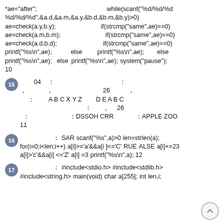*ae="after";                              while(scanf("%d/%d/%d %d/%d/%d",&a.d,&a.m,&a.y,&b.d,&b.m,&b.y)>0)
ae=check(a.y,b.y);                  if(strcmp("same",ae)==0)
ae=check(a.m,b.m);                  if(strcmp("same",ae)==0)
ae=check(a.d,b.d);                  if(strcmp("same",ae)==0)
printf("%s\n",ae);      else      printf("%s\n",ae);      else
printf("%s\n",ae);  else  printf("%s\n",ae);  system("pause");
10
15      04    :                          :
,              ,                          26              ,
         :         A B C X Y Z          D E A B C
                              :              ,      26
    :                         : DSSOH CRR              : APPLE ZOO
11
16                    :  SAR  scanf("%s",a)>0  len=strlen(a);
for(i=0;i<len;i++)  a[i]>='a'&&a[i ]<='C'  RUE  ALSE  a[i]+=23
a[i]>'c'&&a[i] <='Z' a[i] =3  printf("%s\n",a); 12
17                    :  #include<stdio.h>  #include<stdlib.h>
#include<string.h>  main(void)  char  a[255];  int  len,i;